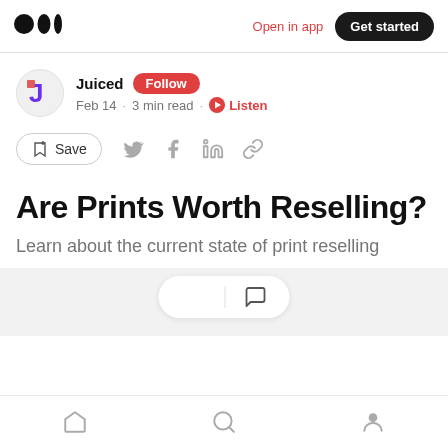Medium logo | Open in app | Get started
Juiced · Follow · Feb 14 · 3 min read · Listen
Save | Twitter | Facebook | LinkedIn | Link
Are Prints Worth Reselling?
Learn about the current state of print reselling
[Figure (screenshot): Bottom action bar with clapping and comment icons, and bottom navigation bar with home, search, and profile icons]